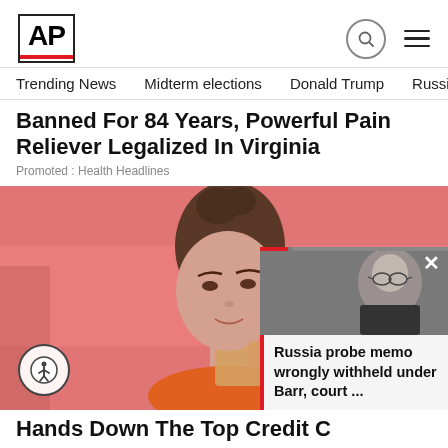AP
Trending News   Midterm elections   Donald Trump   Russia-Ukr
Banned For 84 Years, Powerful Pain Reliever Legalized In Virginia
Promoted : Health Headlines
[Figure (photo): Young woman with brunette hair in a bun, resting chin on hand, pink background, holding a card. Overlay popup showing a man with glasses (Bill Barr) and text 'Russia probe memo wrongly withheld under Barr, court ...']
Hands Down The Top Credit C